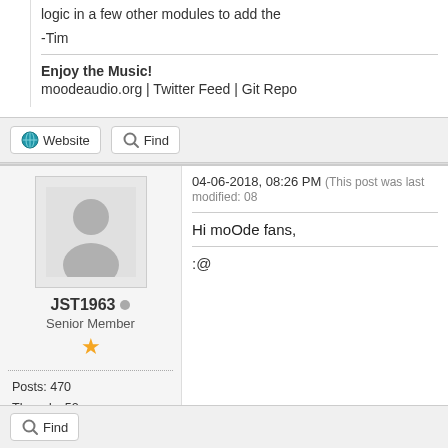logic in a few other modules to add the
-Tim
Enjoy the Music!
moodeaudio.org | Twitter Feed | Git Repo
Website | Find
04-06-2018, 08:26 PM (This post was last modified: 08
Hi moOde fans,
[Figure (illustration): Generic user avatar silhouette in a light gray box]
JST1963
Senior Member
Posts: 470
Threads: 52
Joined: Apr 2018
Reputation: 16
:@
Find